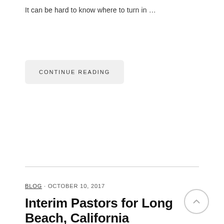It can be hard to know where to turn in …
CONTINUE READING
BLOG · OCTOBER 10, 2017
Interim Pastors for Long Beach, California Churches in Transition or Crisis